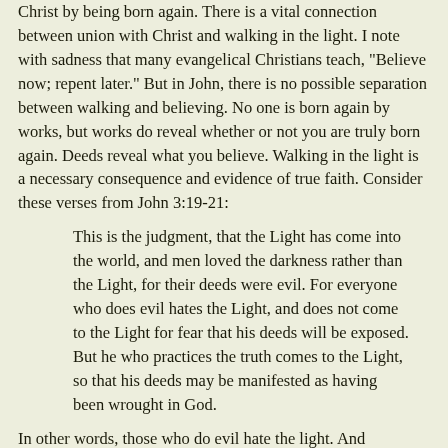Christ by being born again. There is a vital connection between union with Christ and walking in the light. I note with sadness that many evangelical Christians teach, "Believe now; repent later." But in John, there is no possible separation between walking and believing. No one is born again by works, but works do reveal whether or not you are truly born again. Deeds reveal what you believe. Walking in the light is a necessary consequence and evidence of true faith. Consider these verses from John 3:19-21:
This is the judgment, that the Light has come into the world, and men loved the darkness rather than the Light, for their deeds were evil. For everyone who does evil hates the Light, and does not come to the Light for fear that his deeds will be exposed. But he who practices the truth comes to the Light, so that his deeds may be manifested as having been wrought in God.
In other words, those who do evil hate the light. And remember, light is personified here. To hate the light is to hate Christ. To hate the way of Christ is to hate Christ Himself.